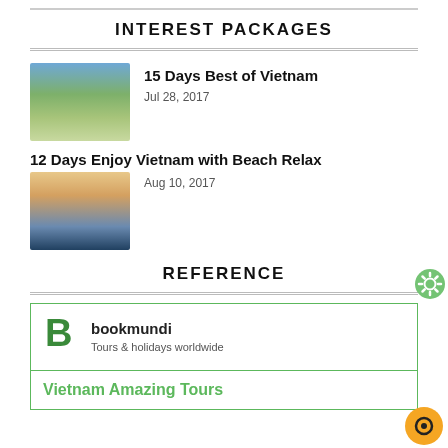INTEREST PACKAGES
15 Days Best of Vietnam | Jul 28, 2017
12 Days Enjoy Vietnam with Beach Relax | Aug 10, 2017
REFERENCE
bookmundi Tours & holidays worldwide
Vietnam Amazing Tours